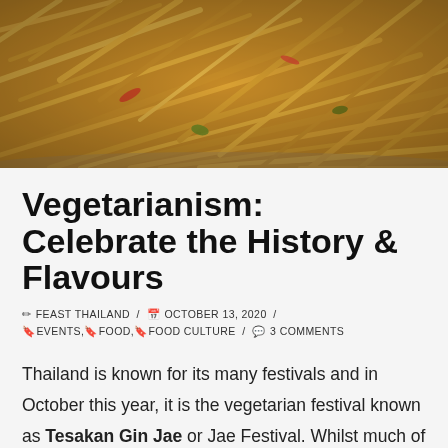[Figure (photo): Close-up overhead photo of Thai stir-fried noodle dish with yellow/golden noodles, red chillies and green vegetables in a wok or pan]
Vegetarianism: Celebrate the History & Flavours
✏ FEAST THAILAND / 📅 OCTOBER 13, 2020 / 🔖 EVENTS, 🔖 FOOD, 🔖 FOOD CULTURE / 💬 3 COMMENTS
Thailand is known for its many festivals and in October this year, it is the vegetarian festival known as Tesakan Gin Jae or Jae Festival. Whilst much of the celebrations will take place in Bangkok and Phuket, where they celebrate this festival with great gusto, Hua Hin and its surrounds also partake in the